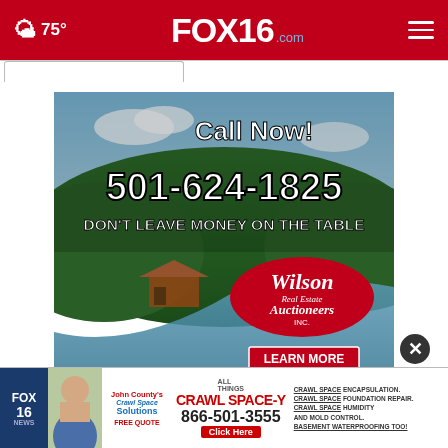☁ 75° | FOX16.com
[Figure (illustration): Wilson Real Estate Auctioneers advertisement showing aerial view of forested lake property. Text reads: 'Call Now! 501-624-1825 DON'T LEAVE MONEY ON THE TABLE' with Wilson Real Estate Auctioneers Inc. logo and LEARN MORE button.]
[Figure (screenshot): Bottom banner advertisement for Crawl Space Solutions / Crawl Space-Y service showing Fox16 logo, crawl space services including encapsulation, foundation repair, humidity and mold control, basement waterproofing. Phone number 866-501-3555. Free Quote offer.]